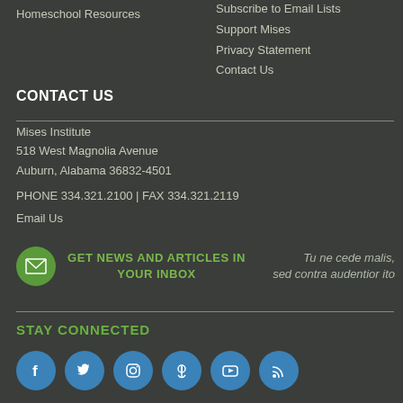Homeschool Resources
Subscribe to Email Lists
Support Mises
Privacy Statement
Contact Us
CONTACT US
Mises Institute
518 West Magnolia Avenue
Auburn, Alabama 36832-4501
PHONE 334.321.2100 | FAX 334.321.2119
Email Us
GET NEWS AND ARTICLES IN YOUR INBOX
Tu ne cede malis, sed contra audentior ito
STAY CONNECTED